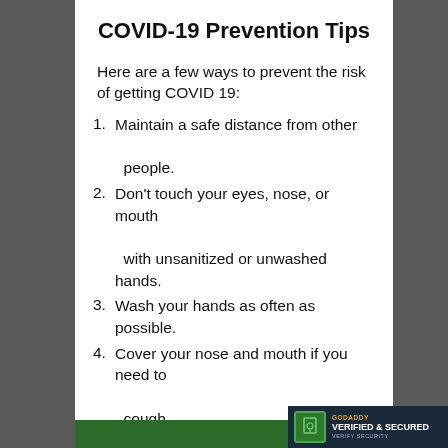COVID-19 Prevention Tips
Here are a few ways to prevent the risk of getting COVID 19:
Maintain a safe distance from other people.
Don't touch your eyes, nose, or mouth with unsanitized or unwashed hands.
Wash your hands as often as possible.
Cover your nose and mouth if you need to cough.
Stay at home unless it is necessary for you to do an important errand.